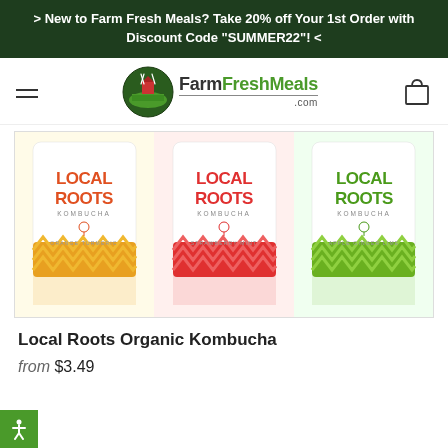> New to Farm Fresh Meals? Take 20% off Your 1st Order with Discount Code "SUMMER22"! <
[Figure (logo): FarmFreshMeals.com logo with circular farm illustration and green text]
[Figure (photo): Three Local Roots Kombucha cans: Orange Turmeric (yellow/orange), Strawberry Mint (red/pink), and Apple Ginger Lime (green), each with chevron pattern at bottom]
Local Roots Organic Kombucha
from $3.49